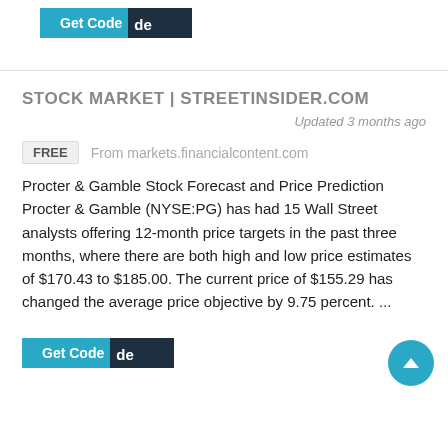[Figure (other): Get Code button with dark overlay label at top of page]
STOCK MARKET | STREETINSIDER.COM
Updated 3 months ago
FREE   From markets.financialcontent.com
Procter & Gamble Stock Forecast and Price Prediction Procter & Gamble (NYSE:PG) has had 15 Wall Street analysts offering 12-month price targets in the past three months, where there are both high and low price estimates of $170.43 to $185.00. The current price of $155.29 has changed the average price objective by 9.75 percent. ...
[Figure (other): Get Code button with dark overlay label at bottom; scroll-to-top circular button at bottom right]